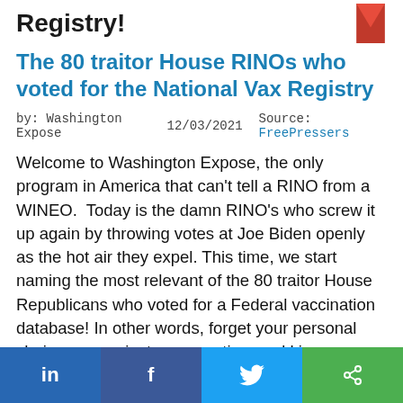Registry!
The 80 traitor House RINOs who voted for the National Vax Registry
by: Washington Expose   12/03/2021   Source: FreePressers
Welcome to Washington Expose, the only program in America that can't tell a RINO from a WINEO.  Today is the damn RINO's who screw it up again by throwing votes at Joe Biden openly as the hot air they expel. This time, we start naming the most relevant of the 80 traitor House Republicans who voted for a Federal vaccination database! In other words, forget your personal choice, your private prerogative, and kiss your privacy goodbye.
in  f  🐦  <